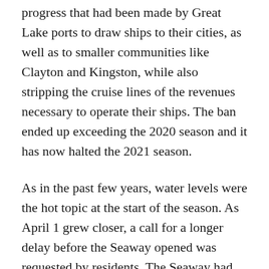progress that had been made by Great Lake ports to draw ships to their cities, as well as to smaller communities like Clayton and Kingston, while also stripping the cruise lines of the revenues necessary to operate their ships. The ban ended up exceeding the 2020 season and it has now halted the 2021 season.
As in the past few years, water levels were the hot topic at the start of the season. As April 1 grew closer, a call for a longer delay before the Seaway opened was requested by residents. The Seaway had pushed the opening to April 1 from its typical third week of March. Outflows were kept at the